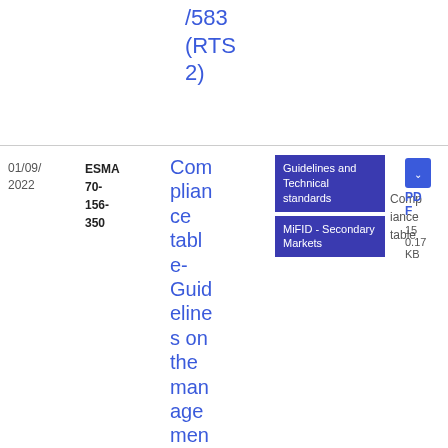/583 (RTS 2)
01/09/2022
ESMA 70-156-350
Compliance table-Guidelines on the management body of market oper
Guidelines and Technical standards
MiFID - Secondary Markets
Compliance table
PDF
15 0.17 KB